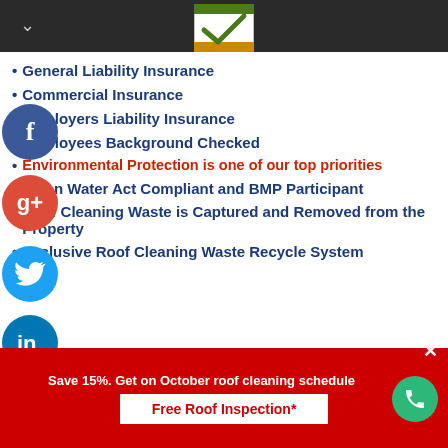[Figure (logo): Checkmark logo with gold/green colors in top bar]
General Liability Insurance
Commercial Insurance
Employers Liability Insurance
Employees Background Checked
Environmental Protection is one of our top priorities
Clean Water Act Compliant and BMP Participant
Roof Cleaning Waste is Captured and Removed from the Property
Exclusive Roof Cleaning Waste Recycle System
Save 15%. Get on October roof cleaning schedule
Free Roof Inspection*